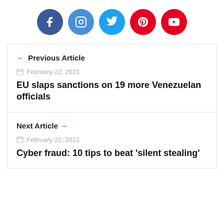[Figure (illustration): Row of five social media icons: Facebook (dark blue), Instagram (light blue), Twitter (blue), Pinterest (red), YouTube (red)]
← Previous Article
February 22, 2021
EU slaps sanctions on 19 more Venezuelan officials
Next Article →
February 22, 2021
Cyber fraud: 10 tips to beat 'silent stealing'